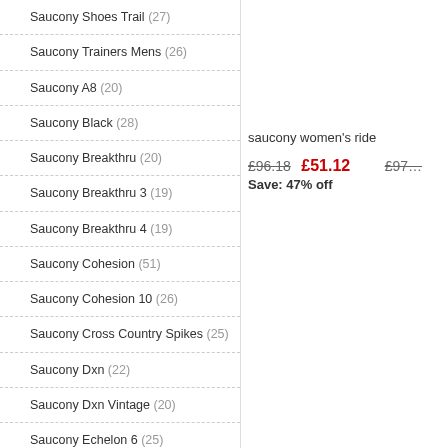Saucony Shoes Trail (27)
Saucony Trainers Mens (26)
Saucony A8 (20)
Saucony Black (28)
Saucony Breakthru (20)
Saucony Breakthru 3 (19)
Saucony Breakthru 4 (19)
Saucony Cohesion (51)
Saucony Cohesion 10 (26)
Saucony Cross Country Spikes (25)
Saucony Dxn (22)
Saucony Dxn Vintage (20)
Saucony Echelon 6 (25)
Saucony Everun (10)
Saucony Excursion (23)
Saucony Fastwitch 8 (18)
saucony women's ride
£96.18  £51.12  Save: 47% off  £97...